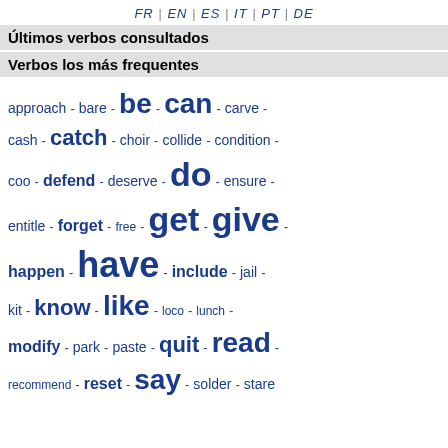FR | EN | ES | IT | PT | DE
Últimos verbos consultados
Verbos los más frequentes
approach - bare - be - can - carve - cash - catch - choir - collide - condition - coo - defend - deserve - do - ensure - entitle - forget - free - get - give - happen - have - include - jail - kit - know - like - loco - lunch - modify - park - paste - quit - read - recommend - reset - say - solder - stare